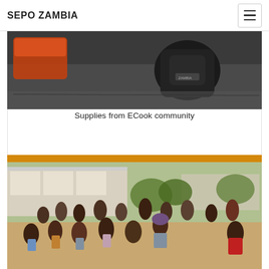SEPO ZAMBIA
[Figure (photo): Indoor photo showing bags and supplies on a floor, with orange/red and dark colored bags visible]
Supplies from ECook community
[Figure (photo): Outdoor photo showing a large group of African children and adults gathered outside a building, with dry ground and trees in the background]